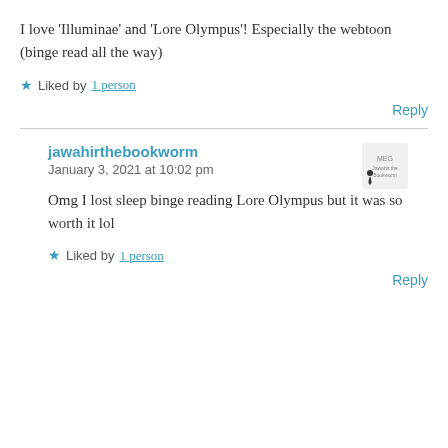I love 'Illuminae' and 'Lore Olympus'! Especially the webtoon (binge read all the way)
★ Liked by 1 person
Reply
jawahirthebookworm
January 3, 2021 at 10:02 pm
Omg I lost sleep binge reading Lore Olympus but it was so worth it lol
★ Liked by 1 person
Reply